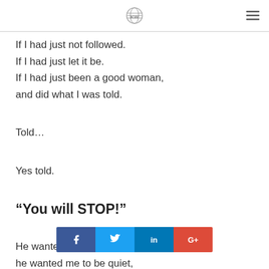[Logo] [Hamburger menu]
If I had just not followed.
If I had just let it be.
If I had just been a good woman,
and did what I was told.
Told…
Yes told.
“You will STOP!”
He wanted me… he wanted me to be quiet,